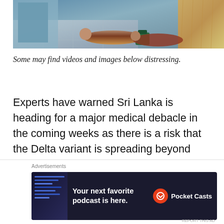[Figure (photo): Hospital corridor or ward scene showing patients lying on the floor, with tiled flooring and colorful fabric/clothing visible]
Some may find videos and images below distressing.
Experts have warned Sri Lanka is heading for a major medical debacle in the coming weeks as there is a risk that the Delta variant is spreading beyond control according to Daily Mirror.
[Figure (screenshot): Advertisement banner for Pocket Casts podcast app with text: Advertisements / Your next favorite podcast is here. / Pocket Casts logo]